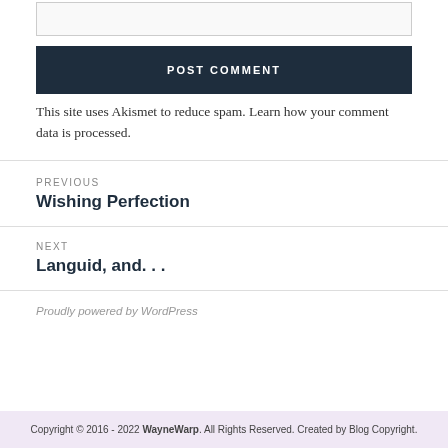WEBSITE (input field)
POST COMMENT
This site uses Akismet to reduce spam. Learn how your comment data is processed.
PREVIOUS
Wishing Perfection
NEXT
Languid, and. . .
Proudly powered by WordPress
Copyright © 2016 - 2022 WayneWarp. All Rights Reserved. Created by Blog Copyright.